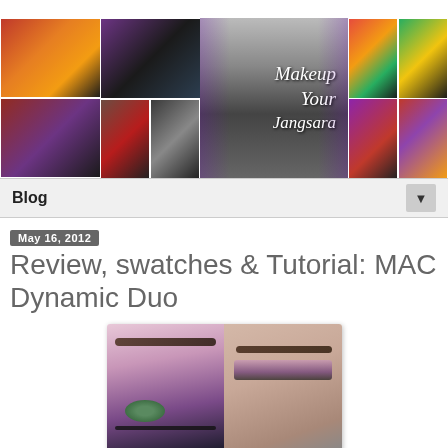[Figure (photo): Blog header banner with makeup eye thumbnail collage on left and right sides, large center black-and-white eye photo with cursive script 'Makeup Your Jangsara' text overlay, and colorful eye makeup thumbnails on sides.]
Blog ▼
May 16, 2012
Review, swatches & Tutorial: MAC Dynamic Duo
[Figure (photo): Side-by-side makeup photos: left shows a close-up of an eye with pink and purple smoky eye makeup; right shows a woman's face with the same style of eye makeup applied, featuring pink and dark purple shading.]